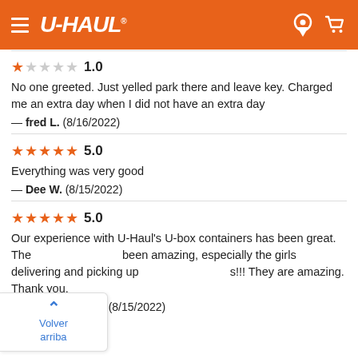U-HAUL
1.0
No one greeted. Just yelled park there and leave key. Charged me an extra day when I did not have an extra day
— fred L.  (8/16/2022)
5.0
Everything was very good
— Dee W.  (8/15/2022)
5.0
Our experience with U-Haul's U-box containers has been great. The [staff has] been amazing, especially the girls delivering and picking up [the box]s!!! They are amazing. Thank you.
— [name].  (8/15/2022)